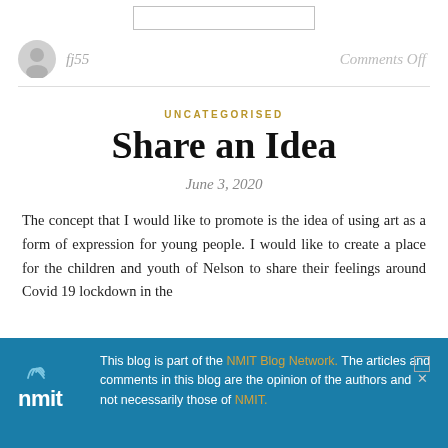[Figure (other): Input/search bar at top of page]
fj55
Comments Off
UNCATEGORISED
Share an Idea
June 3, 2020
The concept that I would like to promote is the idea of using art as a form of expression for young people. I would like to create a place for the children and youth of Nelson to share their feelings around Covid 19 lockdown in the
This blog is part of the NMIT Blog Network. The articles and comments in this blog are the opinion of the authors and not necessarily those of NMIT.